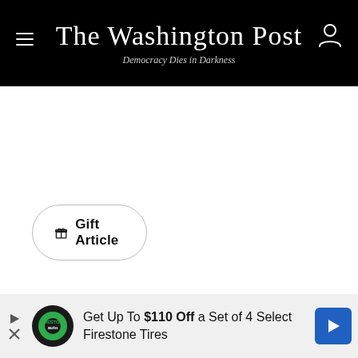The Washington Post — Democracy Dies in Darkness
🎁 Gift Article
[Figure (infographic): Advertisement banner: Get Up To $110 Off a Set of 4 Select Firestone Tires, with Firestone auto logo and blue navigation arrow icon]